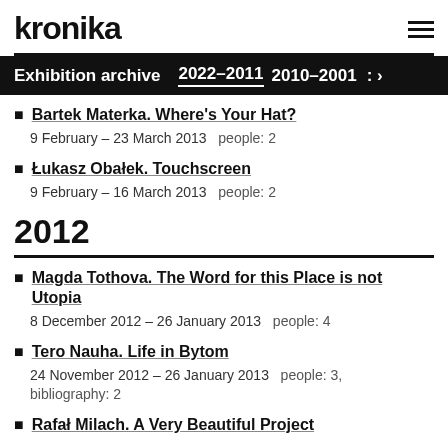kronika
Exhibition archive 2022–2011 2010–2001 : >
Bartek Materka. Where's Your Hat?
9 February – 23 March 2013   people: 2
Łukasz Obałek. Touchscreen
9 February – 16 March 2013   people: 2
2012
Magda Tothova. The Word for this Place is not Utopia
8 December 2012 – 26 January 2013   people: 4
Tero Nauha. Life in Bytom
24 November 2012 – 26 January 2013   people: 3, bibliography: 2
Rafał Milach. A Very Beautiful Project